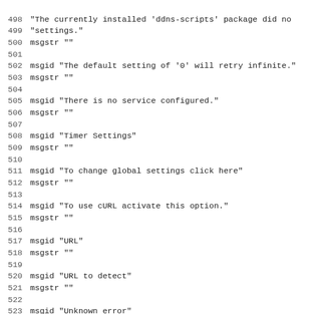498 "The currently installed 'ddns-scripts' package did not have
499 "settings."
500 msgstr ""
501
502 msgid "The default setting of '0' will retry infinite."
503 msgstr ""
504
505 msgid "There is no service configured."
506 msgstr ""
507
508 msgid "Timer Settings"
509 msgstr ""
510
511 msgid "To change global settings click here"
512 msgstr ""
513
514 msgid "To use cURL activate this option."
515 msgstr ""
516
517 msgid "URL"
518 msgstr ""
519
520 msgid "URL to detect"
521 msgstr ""
522
523 msgid "Unknown error"
524 msgstr ""
525
526 msgid ""
527 "Update URL to be used for updating your DDNS Provider.
528 "instructions you will find on their WEB page."
529 msgstr ""
530